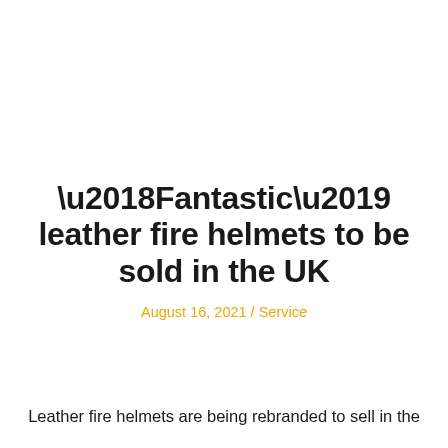‘Fantastic’ leather fire helmets to be sold in the UK
August 16, 2021 / Service
Leather fire helmets are being rebranded to sell in the